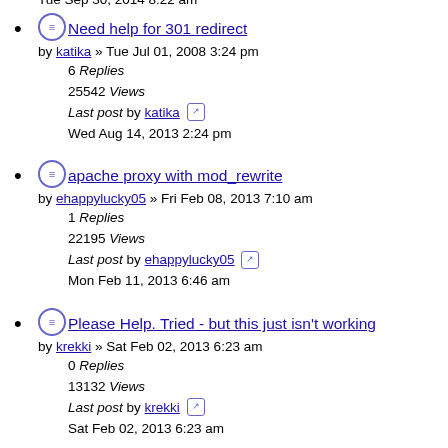38004 Views
Last post by Ulysses
Tue Sep 30, 2014 8:22 am
Need help for 301 redirect
by katika » Tue Jul 01, 2008 3:24 pm
6 Replies
25542 Views
Last post by katika
Wed Aug 14, 2013 2:24 pm
apache proxy with mod_rewrite
by ehappylucky05 » Fri Feb 08, 2013 7:10 am
1 Replies
22195 Views
Last post by ehappylucky05
Mon Feb 11, 2013 6:46 am
Please Help. Tried - but this just isn't working
by krekki » Sat Feb 02, 2013 6:23 am
0 Replies
13132 Views
Last post by krekki
Sat Feb 02, 2013 6:23 am
Can't Pass Vars properly